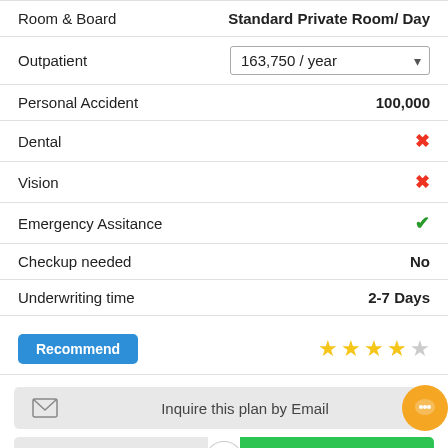| Coverage Item | Value |
| --- | --- |
| Room & Board | Standard Private Room/ Day |
| Outpatient | 163,750 / year |
| Personal Accident | 100,000 |
| Dental | ✗ |
| Vision | ✗ |
| Emergency Assitance | ✓ |
| Checkup needed | No |
| Underwriting time | 2-7 Days |
Recommend
★★★★☆
Inquire this plan by Email
View Coverage or Apply Now